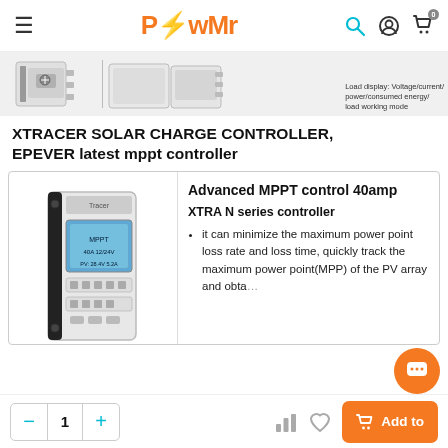PowMr — navigation bar with hamburger menu, logo, search, account, and cart icons
[Figure (photo): Product image strip showing solar charge controller unit from multiple angles with partial label: Load display: Voltage/current/power/consumed energy/load working mode]
XTRACER SOLAR CHARGE CONTROLLER, EPEVER latest mppt controller
[Figure (photo): Solar charge controller device image (MPPT controller) with blue LCD display]
Advanced MPPT control 40amp
XTRA N series controller
it can minimize the maximum power point loss rate and loss time, quickly track the maximum power point(MPP) of the PV array and obta...
Quantity selector: - 1 +  |  Add to [cart]